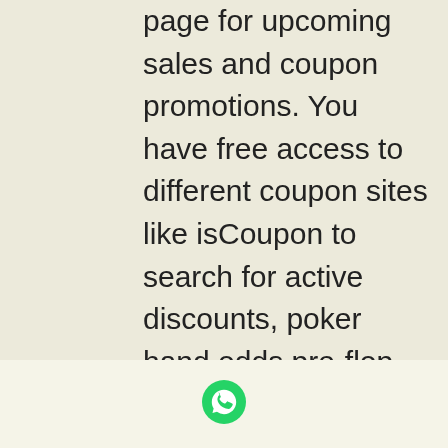page for upcoming sales and coupon promotions. You have free access to different coupon sites like isCoupon to search for active discounts, poker hand odds pre-flop. Full advantages of Amazon Discount Hunter. The tool filters out the lowest price and the highest discounts available, making purchase decisions easier than ever.
Today's casino winners:
Wild Antics - 163.9 bch
Photo Safari - 22.1 dog
The Secret of the Opera - 653.2 usdt
La Romantica - 544 bch
Red Chamber - 510.4 bch
Arabian Nights - 573 btc
Dracula's Blood Bank - 390 eth
Totem Island - 370.7 ltc
Age of the Gods Furious Four - 704.9 bch
Jazz Spin - 659.6 ltc
[Figure (illustration): WhatsApp contact icon (green chat bubble with phone handset)]